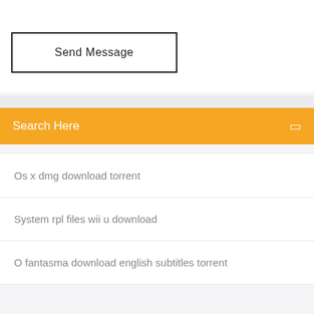Send Message
Search Here
Os x dmg download torrent
System rpl files wii u download
O fantasma download english subtitles torrent